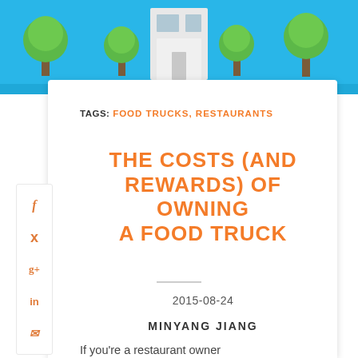[Figure (illustration): Header illustration with light blue sky background, green trees, and a white building/food truck in the center]
TAGS: FOOD TRUCKS, RESTAURANTS
THE COSTS (AND REWARDS) OF OWNING A FOOD TRUCK
2015-08-24
MINYANG JIANG
If you're a restaurant owner